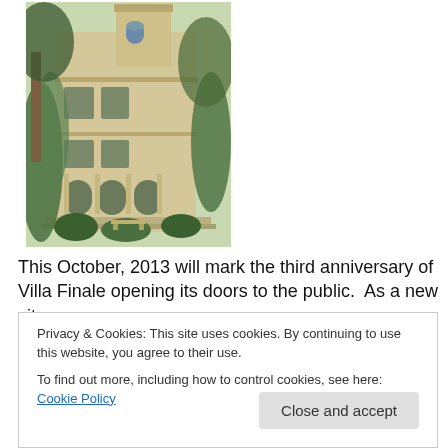[Figure (photo): Photo of Villa Finale, a historic multi-story Italian-style building with arched windows and ornate architectural details, surrounded by trees and greenery]
This October, 2013 will mark the third anniversary of Villa Finale opening its doors to the public.  As a new site, we
Privacy & Cookies: This site uses cookies. By continuing to use this website, you agree to their use.
To find out more, including how to control cookies, see here: Cookie Policy
inviting.  Also, during the last couple of years, we